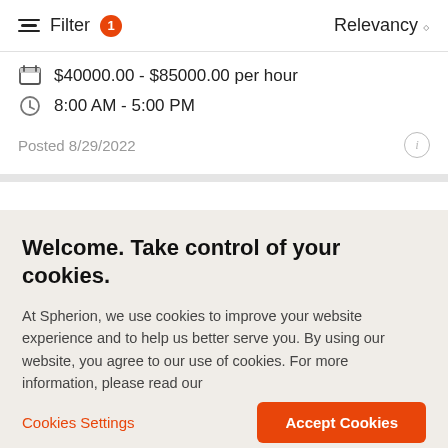Filter 1   Relevancy
$40000.00 - $85000.00 per hour
8:00 AM - 5:00 PM
Posted 8/29/2022
Welcome. Take control of your cookies.
At Spherion, we use cookies to improve your website experience and to help us better serve you. By using our website, you agree to our use of cookies. For more information, please read our cookie policy
Cookies Settings   Accept Cookies